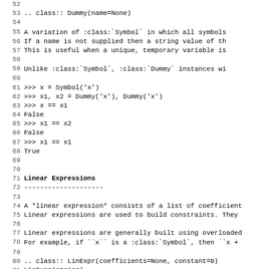52
53 .. class:: Dummy(name=None)
54
55     A variation of :class:`Symbol` in which all symbols
56     If a name is not supplied then a string value of th
57     This is useful when a unique, temporary variable is
58
59     Unlike :class:`Symbol`, :class:`Dummy` instances wi
60
61     >>> x = Symbol('x')
62     >>> x1, x2 = Dummy('x'), Dummy('x')
63     >>> x == x1
64     False
65     >>> x1 == x2
66     False
67     >>> x1 == x1
68     True
69
70
71 Linear Expressions
72 --------------------
73
74 A *linear expression* consists of a list of coefficient
75 Linear expressions are used to build constraints. They
76
77 Linear expressions are generally built using overloaded
78 For example, if ``x`` is a :class:`Symbol`, then ``x +
79
80 .. class:: LinExpr(coefficients=None, constant=0)
81             LinExpr(string)
82
83     Return a linear expression from a dictionary or a